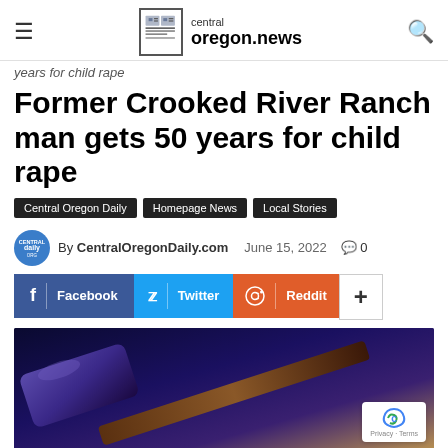central oregon.news
years for child rape
Former Crooked River Ranch man gets 50 years for child rape
Central Oregon Daily
Homepage News
Local Stories
By CentralOregonDaily.com  June 15, 2022  0
[Figure (screenshot): Social sharing buttons: Facebook, Twitter, Reddit, and more]
[Figure (photo): Close-up photo of a wooden judge's gavel on a dark surface with blue lighting, representing legal/court proceedings]